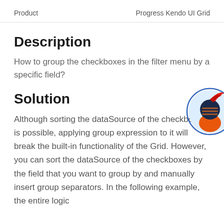Product    Progress Kendo UI Grid
Description
How to group the checkboxes in the filter menu by a specific field?
Solution
[Figure (illustration): Circular avatar illustration of a ninja character with orange and dark blue colors, partially cut off at the right edge, with a blue circular border outline.]
Although sorting the dataSource of the checkboxes is possible, applying group expression to it will break the built-in functionality of the Grid. However, you can sort the dataSource of the checkboxes by the field that you want to group by and manually insert group separators. In the following example, the entire logic